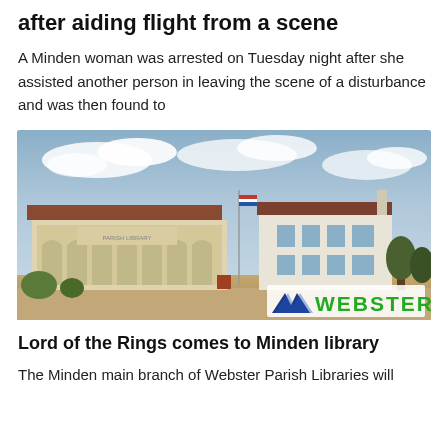after aiding flight from a scene
A Minden woman was arrested on Tuesday night after she assisted another person in leaving the scene of a disturbance and was then found to
[Figure (photo): Exterior photo of the Minden main branch of Webster Parish Libraries building, a cream/white building with arched colonnades and a dark red/maroon roof. A second multi-story white building is visible to the right. The photo has a 'WEBSTER' logo in the lower right corner in blue and green.]
Lord of the Rings comes to Minden library
The Minden main branch of Webster Parish Libraries will